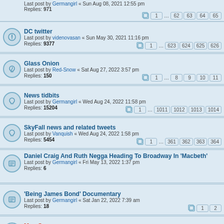Last post by Germangirl « Sun Aug 08, 2021 12:55 pm
Replies: 971
DC twitter
Last post by videnovasan « Sun May 30, 2021 11:16 pm
Replies: 9377
Glass Onion
Last post by Red-Snow « Sat Aug 27, 2022 3:57 pm
Replies: 150
News tidbits
Last post by Germangirl « Wed Aug 24, 2022 11:58 pm
Replies: 15204
SkyFall news and related tweets
Last post by Vanquish « Wed Aug 24, 2022 1:58 pm
Replies: 5454
Daniel Craig And Ruth Negga Heading To Broadway In 'Macbeth'
Last post by Germangirl « Fri May 13, 2022 1:37 pm
Replies: 6
'Being James Bond' Documentary
Last post by Germangirl « Sat Jan 22, 2022 7:39 am
Replies: 18
Mag-Scan
Last post by Dunda « Thu Jan 06, 2022 9:25 pm
Replies: 2259